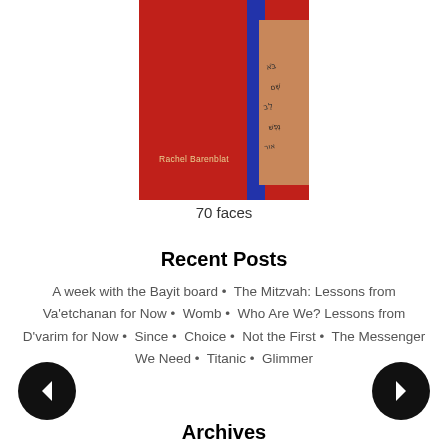[Figure (photo): Book cover of '70 faces' by Rachel Barenblat — red background with Hebrew text tattoo on skin and a blue vertical stripe]
70 faces
Recent Posts
A week with the Bayit board • The Mitzvah: Lessons from Va'etchanan for Now • Womb • Who Are We? Lessons from D'varim for Now • Since • Choice • Not the First • The Messenger We Need • Titanic • Glimmer
[Figure (other): Left navigation arrow button (black circle with white left arrow)]
[Figure (other): Right navigation arrow button (black circle with white right arrow)]
Archives